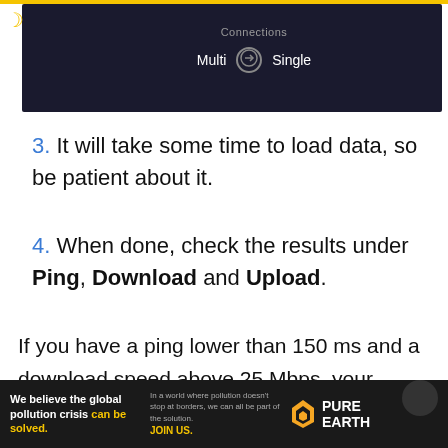[Figure (screenshot): Dark navigation bar showing 'Connections' label with 'Multi' and 'Single' toggle options on dark background]
3. It will take some time to load data, so be patient about it.
4. When done, check the results under Ping, Download and Upload.
If you have a ping lower than 150 ms and a download speed above 25 Mbps, your internet is working just fine. However, if the ping goes above 150 ms and the download speed is slo...
[Figure (screenshot): Advertisement banner: 'We believe the global pollution crisis can be solved.' with Pure Earth logo and 'JOIN US.' call to action]